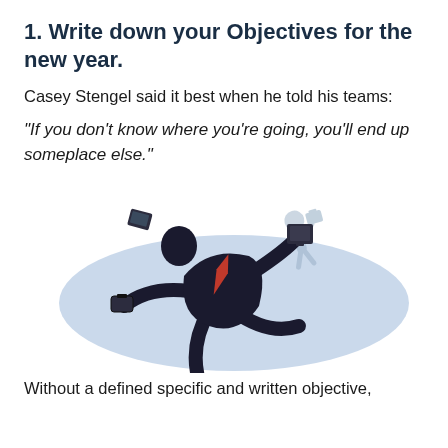1. Write down your Objectives for the new year.
Casey Stengel said it best when he told his teams:
“If you don’t know where you’re going, you’ll end up someplace else.”
[Figure (illustration): Illustration of two businessmen in suits tumbling and falling chaotically, one in the foreground spinning with briefcases flying, another smaller figure in the background also falling, set against a light blue oval shape.]
Without a defined specific and written objective,